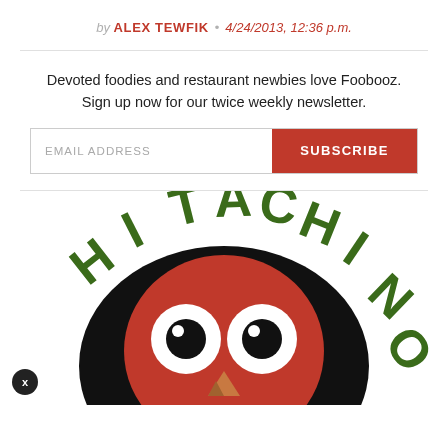by ALEX TEWFIK • 4/24/2013, 12:36 p.m.
Devoted foodies and restaurant newbies love Foobooz. Sign up now for our twice weekly newsletter.
[Figure (logo): Hitachino beer brand logo featuring an owl face design in red and white with dark feathers, with the text HITACHINO in green arched above]
EMAIL ADDRESS | SUBSCRIBE button